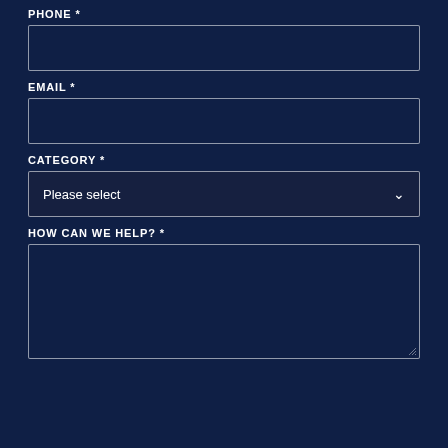PHONE *
[Figure (other): Empty phone text input field with white border on dark navy background]
EMAIL *
[Figure (other): Empty email text input field with white border on dark navy background]
CATEGORY *
[Figure (other): Category dropdown select field showing 'Please select' with chevron arrow, dark navy background with white border]
HOW CAN WE HELP? *
[Figure (other): Large empty textarea for message input with white border on dark navy background and resize handle]